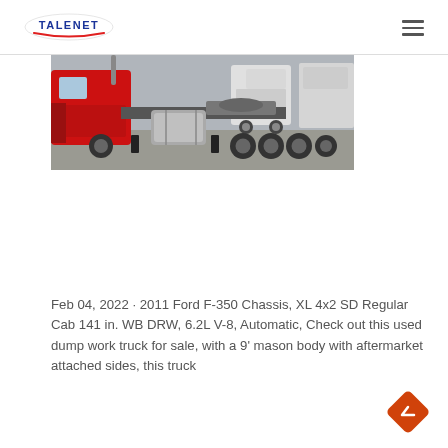TALENET
[Figure (photo): Side view of a large red semi-truck / tractor unit in a truck yard, with white trucks visible in the background on concrete ground.]
Feb 04, 2022 · 2011 Ford F-350 Chassis, XL 4x2 SD Regular Cab 141 in. WB DRW, 6.2L V-8, Automatic, Check out this used dump work truck for sale, with a 9' mason body with aftermarket attached sides, this truck